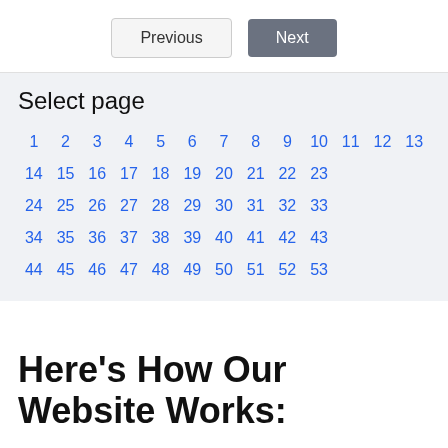Previous  Next
Select page
1 2 3 4 5 6 7 8 9 10 11 12 13 14 15 16 17 18 19 20 21 22 23 24 25 26 27 28 29 30 31 32 33 34 35 36 37 38 39 40 41 42 43 44 45 46 47 48 49 50 51 52 53
Here's How Our Website Works: